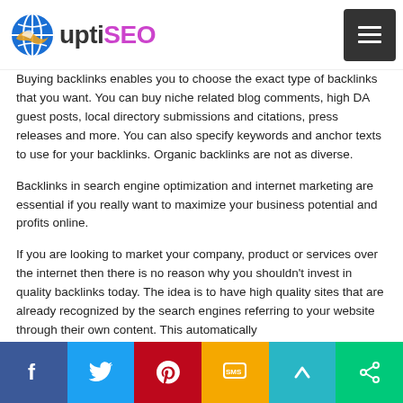uptiSEO
Buying backlinks enables you to choose the exact type of backlinks that you want. You can buy niche related blog comments, high DA guest posts, local directory submissions and citations, press releases and more. You can also specify keywords and anchor texts to use for your backlinks. Organic backlinks are not as diverse.
Backlinks in search engine optimization and internet marketing are essential if you really want to maximize your business potential and profits online.
If you are looking to market your company, product or services over the internet then there is no reason why you shouldn't invest in quality backlinks today. The idea is to have high quality sites that are already recognized by the search engines referring to your website through their own content. This automatically
Social share bar: Facebook, Twitter, Pinterest, SMS, Share, Up